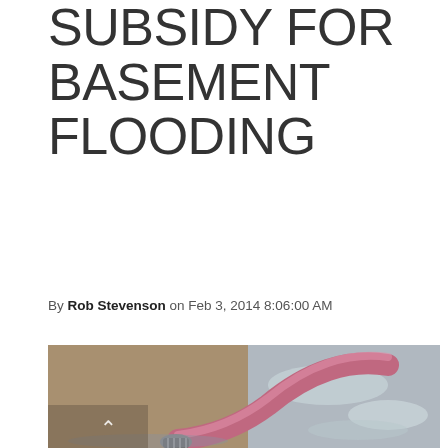SUBSIDY FOR BASEMENT FLOODING
By Rob Stevenson on Feb 3, 2014 8:06:00 AM
[Figure (photo): Close-up photo of a pink/red curved pipe or valve fitting connected to a hose, lying on wet pavement with water visible around it.]